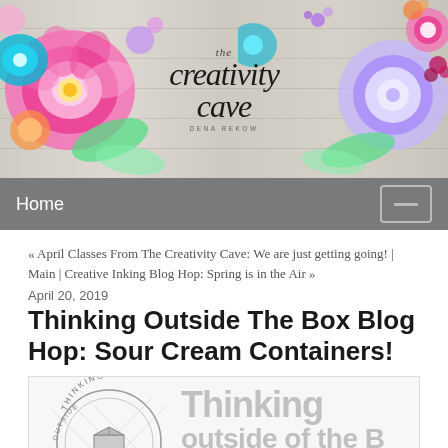[Figure (illustration): The Creativity Cave blog banner with colorful watercolor flowers on left and right sides, wood plank background, with script text 'the creativity cave' and byline 'DENA REKOW']
Home
« April Classes From The Creativity Cave: We are just getting going! | Main | Creative Inking Blog Hop: Spring is in the Air »
April 20, 2019
Thinking Outside The Box Blog Hop: Sour Cream Containers!
[Figure (illustration): Thinking Outside the Box blog hop graphic showing a circular logo with 'THINKING OUTSIDE THE BOX' text and a box image, alongside large text reading 'Thinking outside of the B...']